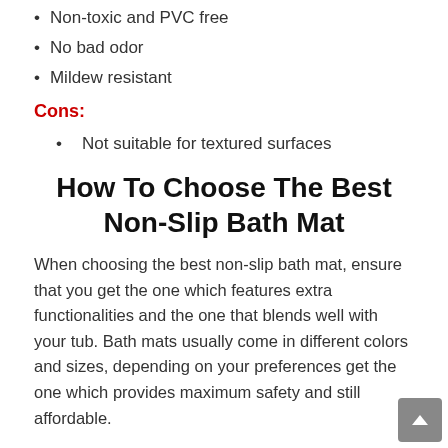Non-toxic and PVC free
No bad odor
Mildew resistant
Cons:
Not suitable for textured surfaces
How To Choose The Best Non-Slip Bath Mat
When choosing the best non-slip bath mat, ensure that you get the one which features extra functionalities and the one that blends well with your tub. Bath mats usually come in different colors and sizes, depending on your preferences get the one which provides maximum safety and still affordable.